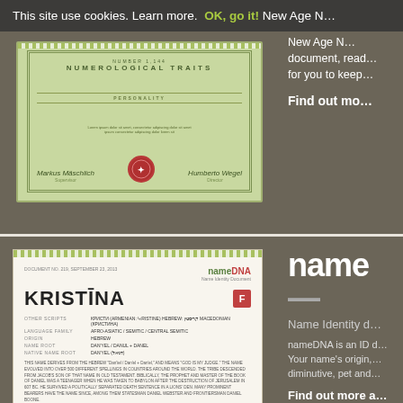This site use cookies. Learn more. OK, go it! New Age N… document, read… for you to keep…
[Figure (illustration): Partial view of a certificate document with decorative green border, names 'Markus Mäschlich' and 'Humberto Wegel', and a red seal]
Find out mo…
[Figure (screenshot): nameDNA Name Identity Document for KRISTĪNA showing origin fields, language family (Afro-Asiatic/Semitic/Central Semitic), origin (Hebrew), name root (Daniel/Danul+Danel), native name root (Dan'yel), with body text about Hebrew origin and variants section listing Croatian, Korean, Danish variants]
name— Name Identity d… nameDNA is an ID d… Your name's origin,… diminutive, pet and… Find out more a…
NEW AGE CURIOSITIES
[Figure (illustration): Circular badge/medallion with text NUMEROLOGY in olive/gold color]
Numerological Value: 5